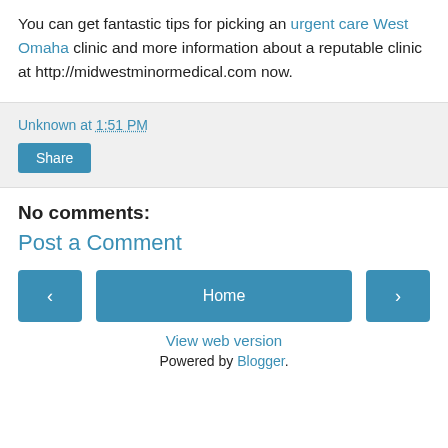You can get fantastic tips for picking an urgent care West Omaha clinic and more information about a reputable clinic at http://midwestminormedical.com now.
Unknown at 1:51 PM
Share
No comments:
Post a Comment
Home
View web version
Powered by Blogger.